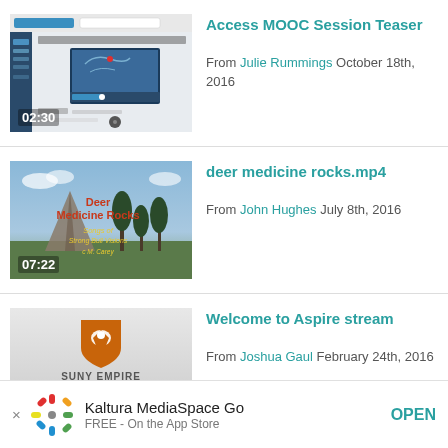[Figure (screenshot): Video thumbnail showing a course interface with a map, duration 02:30]
Access MOOC Session Teaser
From Julie Rummings October 18th, 2016
[Figure (screenshot): Video thumbnail showing Deer Medicine Rocks landscape with teepee, duration 07:22]
deer medicine rocks.mp4
From John Hughes July 8th, 2016
[Figure (screenshot): Video thumbnail showing SUNY Empire State College logo, duration 01:35]
Welcome to Aspire stream
From Joshua Gaul February 24th, 2016
[Figure (logo): Kaltura MediaSpace Go app banner with colorful spinner logo, FREE - On the App Store, OPEN button]